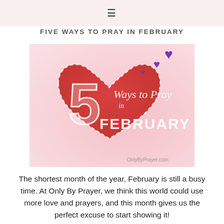≡
FIVE WAYS TO PRAY IN FEBRUARY
[Figure (illustration): Decorative illustration featuring a large red heart with dashed border stitching and a large '5' in sketch style, with text 'Ways to Pray in FEBRUARY' in white lettering. Purple heart emojis float in the upper right. Background is a pink-to-white gradient. 'OnlyByPrayer.com' watermark at bottom right.]
The shortest month of the year, February is still a busy time. At Only By Prayer, we think this world could use more love and prayers, and this month gives us the perfect excuse to start showing it!